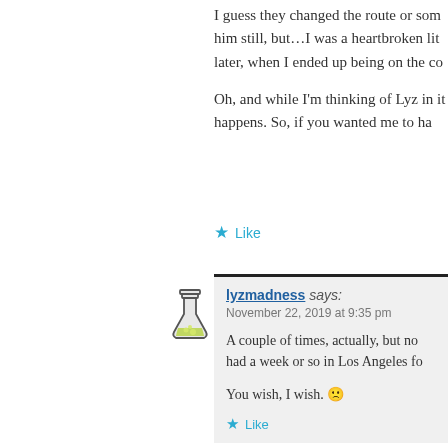I guess they changed the route or som him still, but…I was a heartbroken lit later, when I ended up being on the co
Oh, and while I'm thinking of Lyz in it happens. So, if you wanted me to ha
★ Like
lyzmadness says:
November 22, 2019 at 9:35 pm

A couple of times, actually, but no had a week or so in Los Angeles fo

You wish, I wish. 😕

★ Like